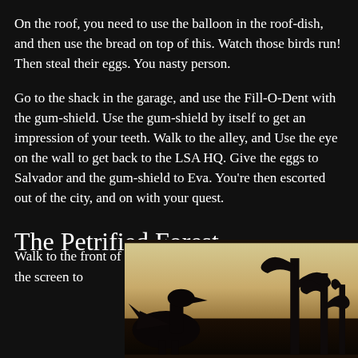On the roof, you need to use the balloon in the roof-dish, and then use the bread on top of this. Watch those birds run! Then steal their eggs. You nasty person.
Go to the shack in the garage, and use the Fill-O-Dent with the gum-shield. Use the gum-shield by itself to get an impression of your teeth. Walk to the alley, and Use the eye on the wall to get back to the LSA HQ. Give the eggs to Salvador and the gum-shield to Eva. You're then escorted out of the city, and on with your quest.
The Petrified Forest
Walk to the front of the screen to
[Figure (illustration): Dark silhouette scene showing a creature or dinosaur-like figure on the left and twisted tree silhouettes on the right, against a warm sunset/dusk sky with golden and amber tones.]